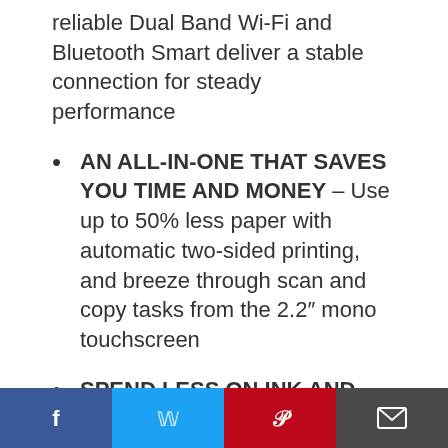reliable Dual Band Wi-Fi and Bluetooth Smart deliver a stable connection for steady performance
AN ALL-IN-ONE THAT SAVES YOU TIME AND MONEY – Use up to 50% less paper with automatic two-sided printing, and breeze through scan and copy tasks from the 2.2″ mono touchscreen
SPEND LESS ON INK AND NEVER RUN OUT – With optional HP Instant Ink, you get ink automatically ordered by your wireless printer and delivered to your door for as
Facebook | Twitter | Pinterest | Email